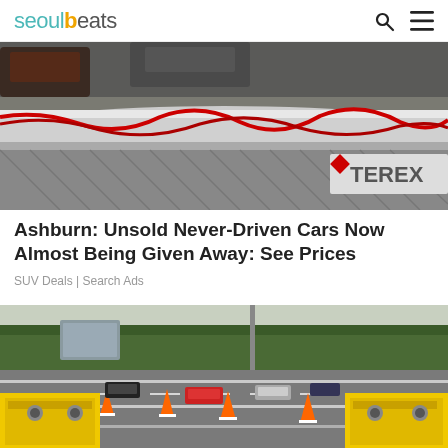seoulbeats
[Figure (photo): Close-up photo of a barrier/guardrail with a red cable wrapped around a metal pole, with vehicles and a TEREX sign visible in the background]
Ashburn: Unsold Never-Driven Cars Now Almost Being Given Away: See Prices
SUV Deals | Search Ads
[Figure (photo): Aerial view of a motorway with orange traffic cones and yellow speed camera equipment boxes positioned on the road, cars visible and trees in the background]